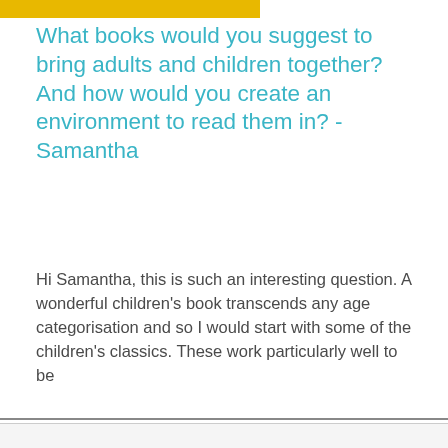[Figure (other): Yellow/gold horizontal banner strip at top of page]
What books would you suggest to bring adults and children together? And how would you create an environment to read them in? - Samantha
Hi Samantha, this is such an interesting question. A wonderful children's book transcends any age categorisation and so I would start with some of the children's classics. These work particularly well to be
We use cookies to make our website work, understand how visitors use our website, and display relevant marketing to you.
Accept all cookies
Manage cookies